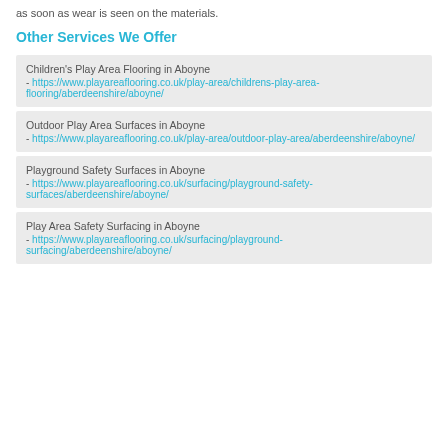as soon as wear is seen on the materials.
Other Services We Offer
Children's Play Area Flooring in Aboyne - https://www.playareaflooring.co.uk/play-area/childrens-play-area-flooring/aberdeenshire/aboyne/
Outdoor Play Area Surfaces in Aboyne - https://www.playareaflooring.co.uk/play-area/outdoor-play-area/aberdeenshire/aboyne/
Playground Safety Surfaces in Aboyne - https://www.playareaflooring.co.uk/surfacing/playground-safety-surfaces/aberdeenshire/aboyne/
Play Area Safety Surfacing in Aboyne - https://www.playareaflooring.co.uk/surfacing/playground-surfacing/aberdeenshire/aboyne/